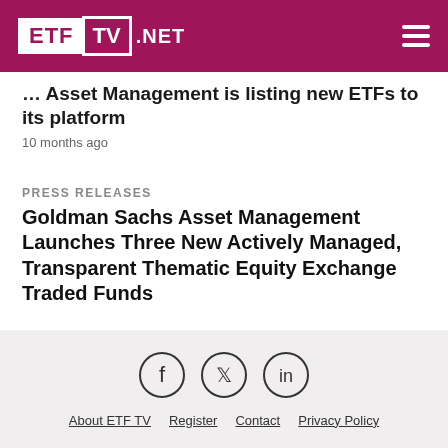ETF TV .NET
… Asset Management is listing new ETFs to its platform
10 months ago
PRESS RELEASES
Goldman Sachs Asset Management Launches Three New Actively Managed, Transparent Thematic Equity Exchange Traded Funds
10 months ago
About ETF TV   Register   Contact   Privacy Policy